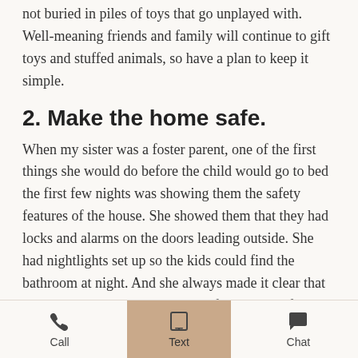not buried in piles of toys that go unplayed with. Well-meaning friends and family will continue to gift toys and stuffed animals, so have a plan to keep it simple.
2. Make the home safe.
When my sister was a foster parent, one of the first things she would do before the child would go to bed the first few nights was showing them the safety features of the house. She showed them that they had locks and alarms on the doors leading outside. She had nightlights set up so the kids could find the bathroom at night. And she always made it clear that they could come to wake her up if they were afraid in the night. Kids need to feel safe—that is especially true for children who were adopted or who come from
Call  Text  Chat